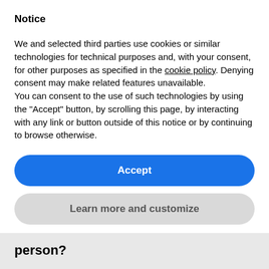Notice
We and selected third parties use cookies or similar technologies for technical purposes and, with your consent, for other purposes as specified in the cookie policy. Denying consent may make related features unavailable.
You can consent to the use of such technologies by using the “Accept” button, by scrolling this page, by interacting with any link or button outside of this notice or by continuing to browse otherwise.
Accept
Learn more and customize
person?
A Dealf...